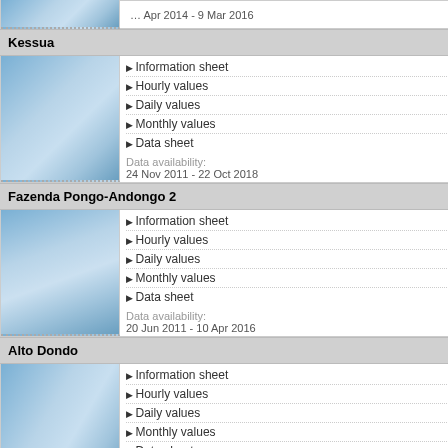[Figure (photo): Clipped top station thumbnail - sky/clouds image with date range text]
Kessua
[Figure (photo): Kessua station thumbnail - sky/clouds image]
Information sheet
Hourly values
Daily values
Monthly values
Data sheet
Data availability:
24 Nov 2011 - 22 Oct 2018
Fazenda Pongo-Andongo 2
[Figure (photo): Fazenda Pongo-Andongo 2 station thumbnail - sky/clouds image]
Information sheet
Hourly values
Daily values
Monthly values
Data sheet
Data availability:
20 Jun 2011 - 10 Apr 2016
Alto Dondo
[Figure (photo): Alto Dondo station thumbnail - sky/clouds image]
Information sheet
Hourly values
Daily values
Monthly values
Data sheet
Data availability:
14 Apr 2014 - 9 Mar 2016
| Date | Value1 | Value2 |
| --- | --- | --- |
| 18 Jul 2020 | 23.6 | 16 |
| 19 Jul 2020 | 24.1 | 17 |
| 20 Jul 2020 | 23.9 | 16 |
| 21 Jul 2020 | 23.2 | 16 |
| 22 Jul 2020 | 23.9 | 16 |
| 23 Jul 2020 | 24.8 | 17 |
| 24 Jul 2020 | - |  |
| 25 Jul 2020 | - |  |
| 26 Jul 2020 | - |  |
| 27 Jul 2020 | - |  |
| 28 Jul 2020 | - |  |
| 29 Jul 2020 | - |  |
| 30 Jul 2020 | - |  |
| 31 Jul 2020 | - |  |
Summary and additional informatio...
Kleinberg - Jul 2020
Precipitation total
1 m
Solar Irradiance total
377
Notes
no f
Download CSV file